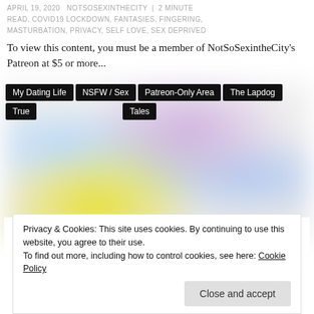APRIL 19, 2020 | NOTSOSEXINTHECITY | 2 MINUTE READ, COVID19 LOCKDOWN, FANTASIES, FINGERING, MASTURBATION, PRIVACY, SELF LOVE, SEX DEPRIVED
To view this content, you must be a member of NotSoSexintheCity's Patreon at $5 or more...
[Figure (illustration): Blurred colorful abstract image with rainbow gradient, purple and yellow hues overlaid with tag buttons: My Dating Life, NSFW / Sex, Patreon-Only Area, The Lapdog, True Tales]
HOT RIGHT NOW [PREVIOUSLY UNSEEN]
APRIL 10, 2020 | NOTSOSEXINTHECITY | BAD
Privacy & Cookies: This site uses cookies. By continuing to use this website, you agree to their use.
To find out more, including how to control cookies, see here: Cookie Policy